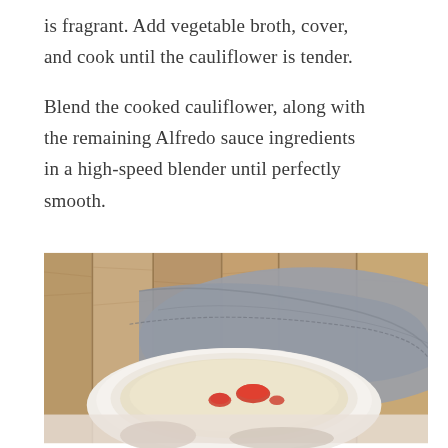is fragrant. Add vegetable broth, cover, and cook until the cauliflower is tender.

Blend the cooked cauliflower, along with the remaining Alfredo sauce ingredients in a high-speed blender until perfectly smooth.
[Figure (photo): A bowl containing a creamy white cauliflower Alfredo sauce topped with red tomato pieces, placed on a gray cloth napkin against a rustic wooden background. The bottom portion shows an additional food image partially visible.]